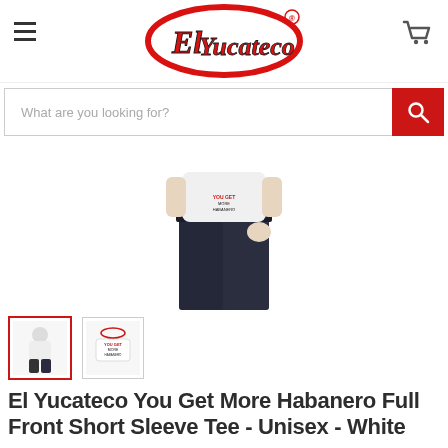[Figure (logo): El Yucateco logo - red oval with cursive red and black text]
[Figure (screenshot): Search bar with placeholder text 'What are you looking for?' and red search button]
[Figure (photo): Product photo showing person wearing white El Yucateco t-shirt with dark jeans, cropped to mid-body]
[Figure (photo): Two product thumbnail images - first selected with red border showing t-shirt model, second showing shirt graphic]
El Yucateco You Get More Habanero Full Front Short Sleeve Tee - Unisex - White